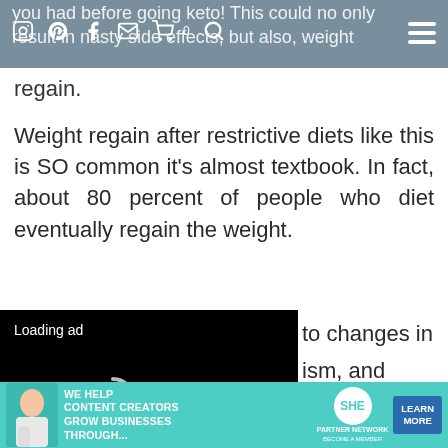you had before going keto! This could no only result in nasty side effects, but also, weight regain.
regain.
Weight regain after restrictive diets like this is SO common it's almost textbook. In fact, about 80 percent of people who diet eventually regain the weight.
[Figure (screenshot): Black video player loading screen with 'Loading ad' text, a spinner icon, and video controls (pause, expand, mute) at the bottom.]
to changes in ism, and s that make it m and keep the
[Figure (advertisement): Teal banner ad: 'WE HELP CONTENT CREATORS GROW BUSINESSES THROUGH...' with SHE Media Partner Network logo and 'LEARN MORE' button.]